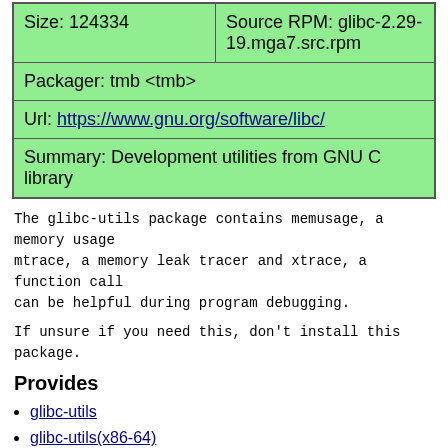| Size: 124334 | Source RPM: glibc-2.29-19.mga7.src.rpm |
| Packager: tmb <tmb> |  |
| Url: https://www.gnu.org/software/libc/ |  |
| Summary: Development utilities from GNU C library |  |
The glibc-utils package contains memusage, a memory usage mtrace, a memory leak tracer and xtrace, a function call can be helpful during program debugging.
If unsure if you need this, don't install this package.
Provides
glibc-utils
glibc-utils(x86-64)
libmemusage.so
libmemusage.so()(64bit)
libpcprofile.so
libpcprofile.so()(64bit)